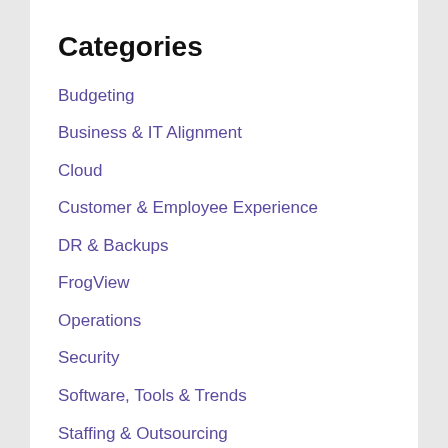Categories
Budgeting
Business & IT Alignment
Cloud
Customer & Employee Experience
DR & Backups
FrogView
Operations
Security
Software, Tools & Trends
Staffing & Outsourcing
Tech-User Devices
Tech-User Online Life